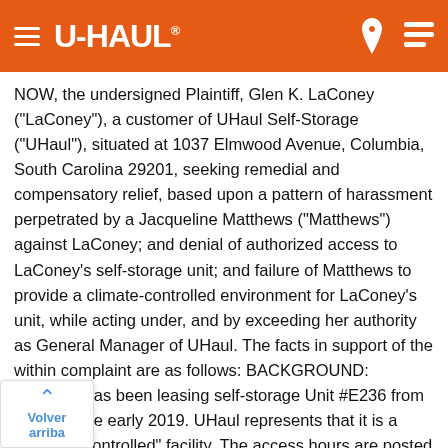U-HAUL
NOW, the undersigned Plaintiff, Glen K. LaConey ("LaConey"), a customer of UHaul Self-Storage ("UHaul"), situated at 1037 Elmwood Avenue, Columbia, South Carolina 29201, seeking remedial and compensatory relief, based upon a pattern of harassment perpetrated by a Jacqueline Matthews ("Matthews") against LaConey; and denial of authorized access to LaConey's self-storage unit; and failure of Matthews to provide a climate-controlled environment for LaConey's unit, while acting under, and by exceeding her authority as General Manager of UHaul. The facts in support of the within complaint are as follows: BACKGROUND: LaConey has been leasing self-storage Unit #E236 from UHaul since early 2019. UHaul represents that it is a "Climate Controlled" facility. The access hours are posted conspicuously. In late 2019, Matthews was assigned as the Manager of UHaul. Immediately after assuming her appointment as Manager, Matthews began a campaign of harassment against LaConey and certain other UHaul customers as follows: 1. Matthews has persistently locked the courtesy restrooms, then denied LaConey the key to the restrooms, on the pretext that